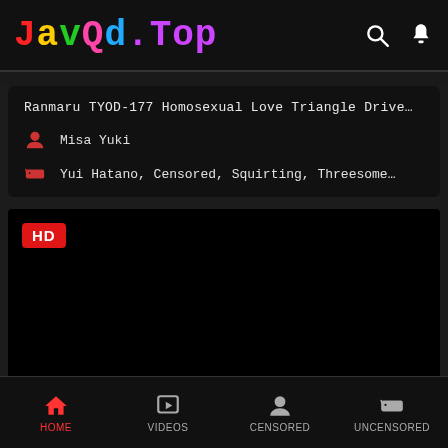JavQd.Top
Ranmaru TYOD-177 Homosexual Love Triangle Drive…
Misa Yuki
Yui Hatano, Censored, Squirting, Threesome…
[Figure (screenshot): Black video player area with HD badge in top-left corner]
HOME  VIDEOS  CENSORED  UNCENSORED